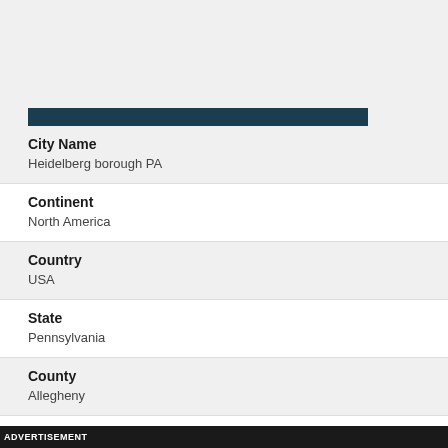City Name
Heidelberg borough PA
Continent
North America
Country
USA
State
Pennsylvania
County
Allegheny
Population
ADVERTISEMENT